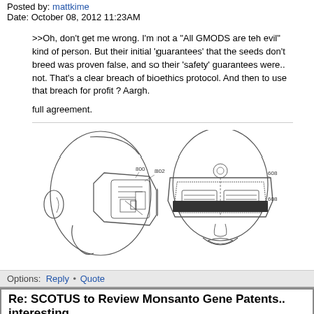Posted by: mattkime
Date: October 08, 2012 11:23AM
>>Oh, don't get me wrong. I'm not a "All GMODS are teh evil" kind of person. But their initial 'guarantees' that the seeds don't breed was proven false, and so their 'safety' guarantees were.. not. That's a clear breach of bioethics protocol. And then to use that breach for profit ? Aargh.

full agreement.
[Figure (engineering-diagram): Patent-style technical diagram showing side view and front view of a person wearing goggle/visor device with labeled components 800, 802, 608, 608]
Options: Reply • Quote
Re: SCOTUS to Review Monsanto Gene Patents.. interesting
Posted by: Ca Bob
Date: October 08, 2012 11:28AM